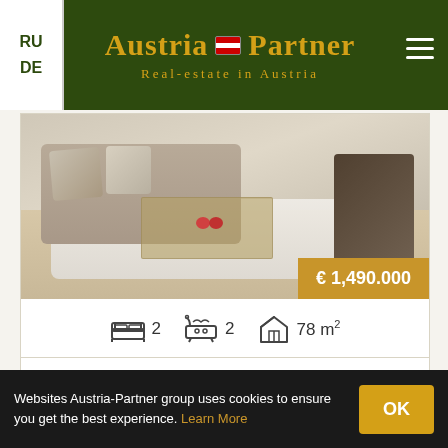RU DE — Austria-Partner Real-estate in Austria
[Figure (photo): Interior photo of a luxury living room with sofa, pillows, coffee table, rug, and designer chair. Price badge: € 1,490,000]
2 bedrooms  2 bathrooms  78 m²
Luxury residential apartments on the Kitzbühel Schwarzsee
Kitzbühel, Schwarzsee (lake) is one of the most beautiful jewels in the region. The idyllic natural setting offers numerous possibilities...
Austria-Partner
Websites Austria-Partner group uses cookies to ensure you get the best experience. Learn More
OK